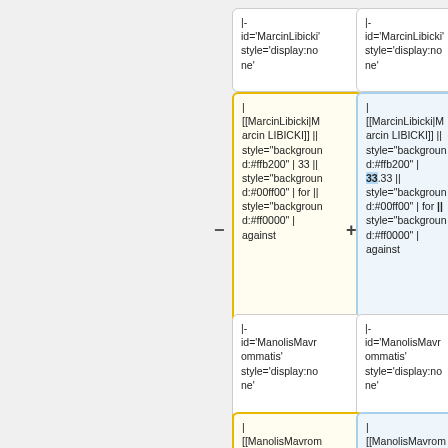|- id='MarcinLibicki' style='display:none'
|- id='MarcinLibicki' style='display:none'
| [[MarcinLibicki|Marcin LIBICKI]] || style="background:#ffb200" | 33 || style="background:#00ff00" | for || style="background:#ff0000" | against
| [[MarcinLibicki|Marcin LIBICKI]] || style="background:#ffb200" | 33.33 || style="background:#00ff00" | for || style="background:#ff0000" | against
|- id='ManolisMavrommatis' style='display:none'
|- id='ManolisMavrommatis' style='display:none'
| [[ManolisMavrom...
| [[ManolisMavrom...